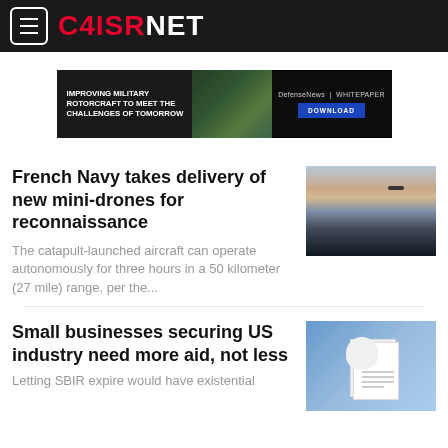C4ISRNET
[Figure (screenshot): Advertisement banner: IMPROVING MILITARY ROTORCRAFT TO MEET THE CHALLENGES OF TOMORROW — DefenseNews | WHITEPAPER DOWNLOAD]
French Navy takes delivery of new mini-drones for reconnaissance
The catapult-launched aircraft can operate autonomously for three hours in a 50 kilometer (27 mile) range, per the...
[Figure (photo): Aerial photo of a drone aircraft silhouetted against a twilight sky over water]
Small businesses securing US industry need more aid, not less
Letting SBIR expire would have existential
[Figure (photo): Photo of a hand holding documents, blue-toned background]